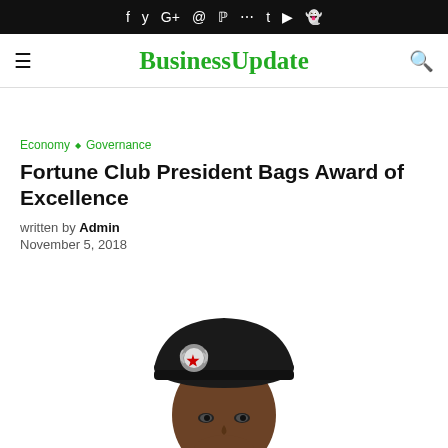f y G+ @ p :: t ▶ 👻
BusinessUpdate
Economy ◇ Governance
Fortune Club President Bags Award of Excellence
written by Admin
November 5, 2018
[Figure (photo): A man wearing a dark military beret with a badge/crest on it, viewed from approximately chest-up, with a white background.]